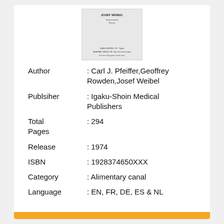[Figure (illustration): Scanned book cover image showing author name JOSEF WEIBEL at top and publisher details IGAKU-SHOIN LTD Tokyo / ACADEMIC PRESS, INC. New York and London at bottom]
Author : Carl J. Pfeiffer,Geoffrey Rowden,Josef Weibel
Publsiher : Igaku-Shoin Medical Publishers
Total Pages : 294
Release : 1974
ISBN : 1928374650XXX
Category : Alimentary canal
Language : EN, FR, DE, ES & NL